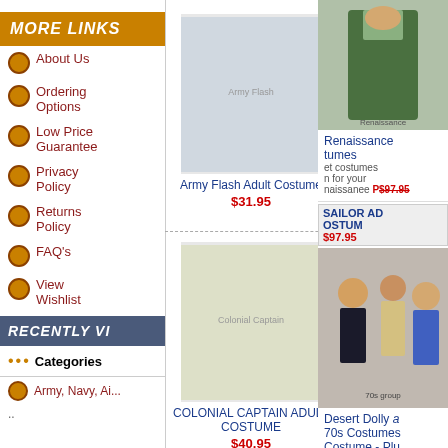MORE LINKS
About Us
Ordering Options
Low Price Guarantee
Privacy Policy
Returns Policy
FAQ's
View Wishlist
RECENTLY VI...
••• Categories
Army, Navy, Ai...
...
[Figure (photo): Army Flash Adult Costume product image placeholder]
Army Flash Adult Costume $31.95
[Figure (photo): Sailor Babe Adult Costume - Plus Size product image placeholder]
Sailor Babe Adult Costume - Plus Size $34.95
[Figure (photo): Military Army ADULT Costume product image placeholder]
Military Army ADULT Costume $43.95
[Figure (photo): Renaissance costumes product image]
Renaissance tumes
et costumes in for your naissanee party
SAILOR AD OSTUM $97.95
[Figure (photo): COLONIAL CAPTAIN ADULT COSTUME product image placeholder]
COLONIAL CAPTAIN ADULT COSTUME $40.95
[Figure (photo): SHIP AHOY SAILOR ADULT COSTUME product image placeholder]
SHIP AHOY SAILOR ADULT COSTUME $39.95
[Figure (photo): Sailor Costume product image placeholder]
Sailor Costume $39.95
[Figure (photo): Desert Dolly and 70s Costumes group photo]
Desert Dolly a 70s Costumes Costume - Plu $36.95
he memories of s with this 70s Costumes.